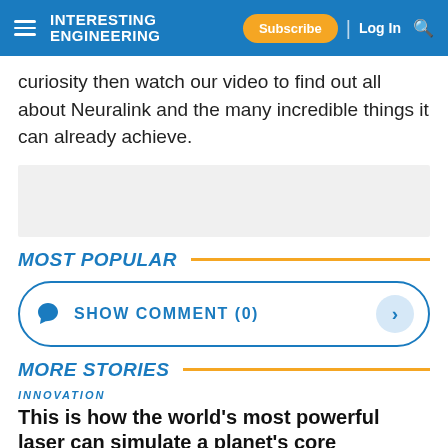Interesting Engineering | Subscribe | Log In
curiosity then watch our video to find out all about Neuralink and the many incredible things it can already achieve.
[Figure (other): Gray advertisement placeholder box]
MOST POPULAR
SHOW COMMENT (0)
MORE STORIES
INNOVATION
This is how the world's most powerful laser can simulate a planet's core